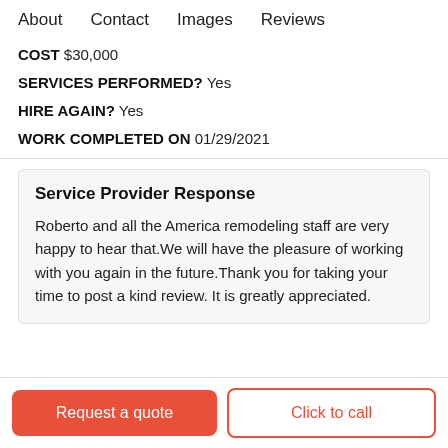About   Contact   Images   Reviews
COST $30,000
SERVICES PERFORMED? Yes
HIRE AGAIN? Yes
WORK COMPLETED ON 01/29/2021
Service Provider Response
Roberto and all the America remodeling staff are very happy to hear that.We will have the pleasure of working with you again in the future.Thank you for taking your time to post a kind review. It is greatly appreciated.
Request a quote   Click to call